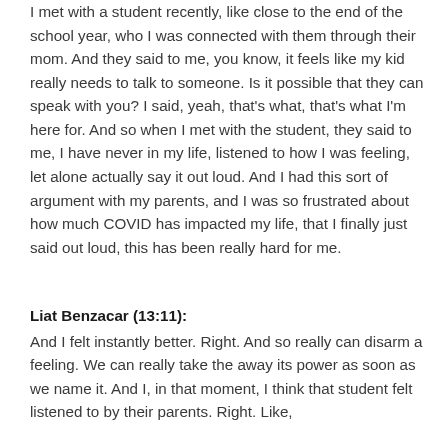I met with a student recently, like close to the end of the school year, who I was connected with them through their mom. And they said to me, you know, it feels like my kid really needs to talk to someone. Is it possible that they can speak with you? I said, yeah, that's what, that's what I'm here for. And so when I met with the student, they said to me, I have never in my life, listened to how I was feeling, let alone actually say it out loud. And I had this sort of argument with my parents, and I was so frustrated about how much COVID has impacted my life, that I finally just said out loud, this has been really hard for me.
Liat Benzacar (13:11): And I felt instantly better. Right. And so really can disarm a feeling. We can really take the away its power as soon as we name it. And I, in that moment, I think that student felt listened to by their parents. Right. Like,